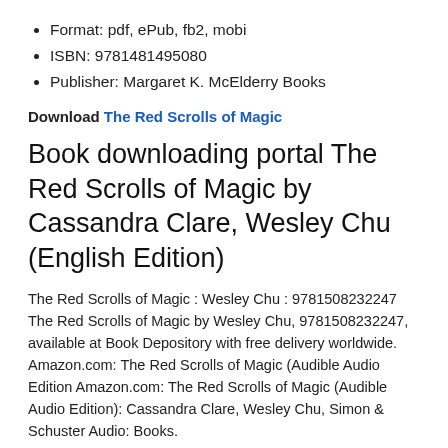Format: pdf, ePub, fb2, mobi
ISBN: 9781481495080
Publisher: Margaret K. McElderry Books
Download The Red Scrolls of Magic
Book downloading portal The Red Scrolls of Magic by Cassandra Clare, Wesley Chu (English Edition)
The Red Scrolls of Magic : Wesley Chu : 9781508232247 The Red Scrolls of Magic by Wesley Chu, 9781508232247, available at Book Depository with free delivery worldwide.
Amazon.com: The Red Scrolls of Magic (Audible Audio Edition Amazon.com: The Red Scrolls of Magic (Audible Audio Edition): Cassandra Clare, Wesley Chu, Simon & Schuster Audio: Books.